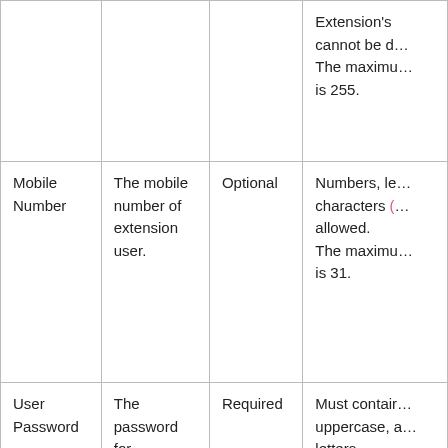| Field | Description | Requirement | Validation |
| --- | --- | --- | --- |
|  | Extension's ...
cannot be d...
The maximu...
is 255. |  |  |
| Mobile Number | The mobile number of extension user. | Optional | Numbers, le...
characters (...
allowed.
The maximu...
is 31. |
| User Password | The password for extension user to log in to Linkus client and PBX web portal. | Required | Must contair...
uppercase, a...
letters.
The minimu...
is 10 and the...
[Note box: User...] |